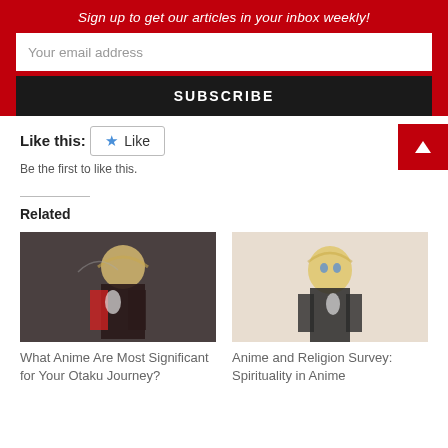Sign up to get our articles in your inbox weekly!
Your email address
SUBSCRIBE
Like this:
Like
Be the first to like this.
Related
[Figure (illustration): Anime character with blonde hair wearing dark outfit with red jacket, action pose]
What Anime Are Most Significant for Your Otaku Journey?
[Figure (illustration): Blonde anime character with blue eyes in dark outfit, light background]
Anime and Religion Survey: Spirituality in Anime